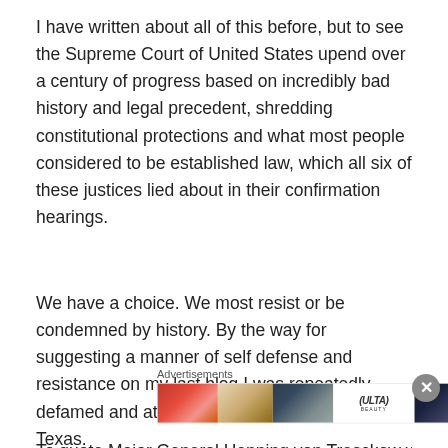I have written about all of this before, but to see the Supreme Court of United States upend over a century of progress based on incredibly bad history and legal precedent, shredding constitutional protections and what most people considered to be established law, which all six of these justices lied about in their confirmation hearings.
We have a choice. We most resist or be condemned by history. By the way for suggesting a manner of self defense and resistance on my last blog I was repeatedly defamed and attacked by a man in Austin, Texas.
To quote Major General Henning von Tresckow who gave
Advertisements
[Figure (photo): ULTA Beauty advertisement banner showing makeup-themed imagery including lips, makeup brush, eyes, ULTA logo, and SHOP NOW text]